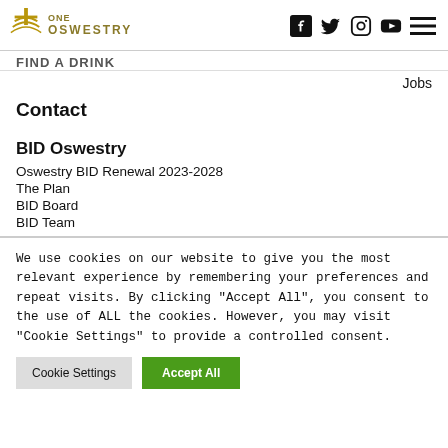ONE OSWESTRY — social icons: Facebook, Twitter, Instagram, YouTube, Menu
FIND A DRINK
Jobs
Contact
BID Oswestry
Oswestry BID Renewal 2023-2028
The Plan
BID Board
BID Team
We use cookies on our website to give you the most relevant experience by remembering your preferences and repeat visits. By clicking "Accept All", you consent to the use of ALL the cookies. However, you may visit "Cookie Settings" to provide a controlled consent.
Cookie Settings | Accept All